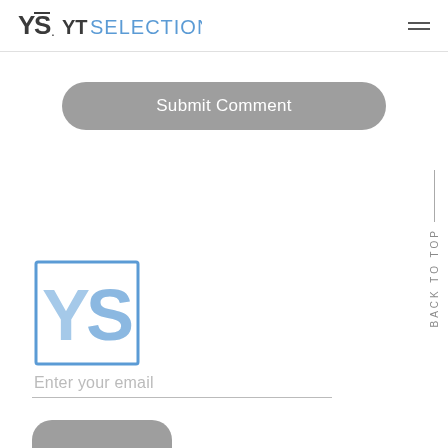YS. YTSELECTION
Submit Comment
[Figure (logo): YS logo — large blue Y and S letters inside a square bracket/box outline in blue]
BACK TO TOP
Enter your email